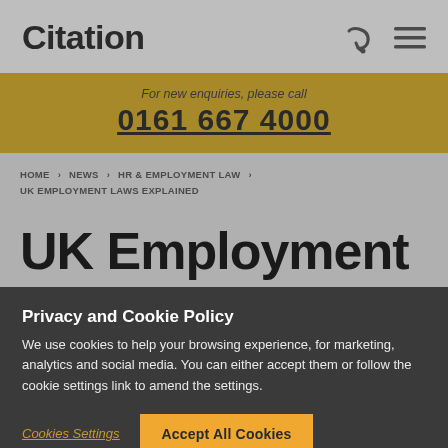Citation
For new enquiries, please call
0161 667 4000
HOME > NEWS > HR & EMPLOYMENT LAW > UK EMPLOYMENT LAWS EXPLAINED
UK Employment
Privacy and Cookie Policy
We use cookies to help your browsing experience, for marketing, analytics and social media. You can either accept them or follow the cookie settings link to amend the settings.
Cookies Settings
Accept All Cookies